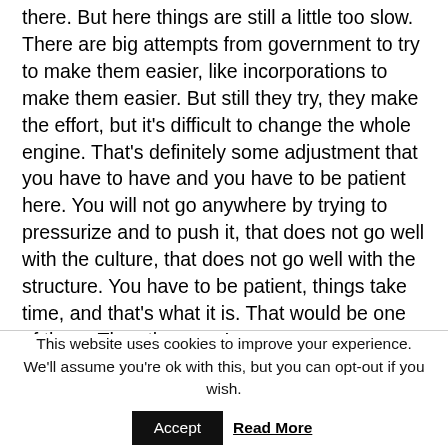there. But here things are still a little too slow. There are big attempts from government to try to make them easier, like incorporations to make them easier. But still they try, they make the effort, but it's difficult to change the whole engine. That's definitely some adjustment that you have to have and you have to be patient here. You will not go anywhere by trying to pressurize and to push it, that does not go well with the culture, that does not go well with the structure. You have to be patient, things take time, and that's what it is. That would be one of them. The other one I
This website uses cookies to improve your experience. We'll assume you're ok with this, but you can opt-out if you wish.
Accept  Read More